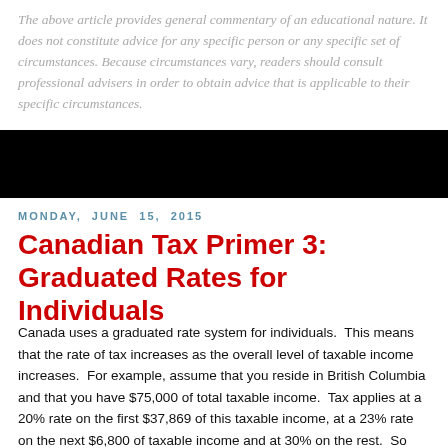The above article provides general commentary of an educational nature. It does not constitute advice for any specific person or any specific set of circumstances. Because circumstances vary, readers should consult professional advisers in order to obtain advice that is applicable to their specific circumstances.
[Figure (other): Black banner/header bar]
Monday, June 15, 2015
Canadian Tax Primer 3: Graduated Rates for Individuals
Canada uses a graduated rate system for individuals. This means that the rate of tax increases as the overall level of taxable income increases. For example, assume that you reside in British Columbia and that you have $75,000 of total taxable income. Tax applies at a 20% rate on the first $37,869 of this taxable income, at a 23% rate on the next $6,800 of taxable income and at 30% on the rest. So your effective tax rate is a combination of these various rates on